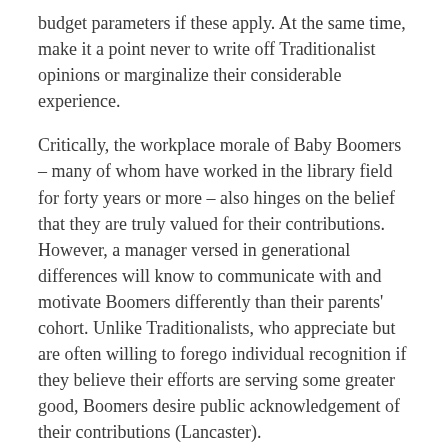budget parameters if these apply. At the same time, make it a point never to write off Traditionalist opinions or marginalize their considerable experience.
Critically, the workplace morale of Baby Boomers – many of whom have worked in the library field for forty years or more – also hinges on the belief that they are truly valued for their contributions. However, a manager versed in generational differences will know to communicate with and motivate Boomers differently than their parents' cohort. Unlike Traditionalists, who appreciate but are often willing to forego individual recognition if they believe their efforts are serving some greater good, Boomers desire public acknowledgement of their contributions (Lancaster).
Library managers have precious few opportunities to grant promotions, bestow titles, or award bigger offices. However, time invested in extending affordable recognition opportunities, such as achievement awards and newsletter or other public profiles, is time well spent when managing Boomer employees (Evans & Alire).